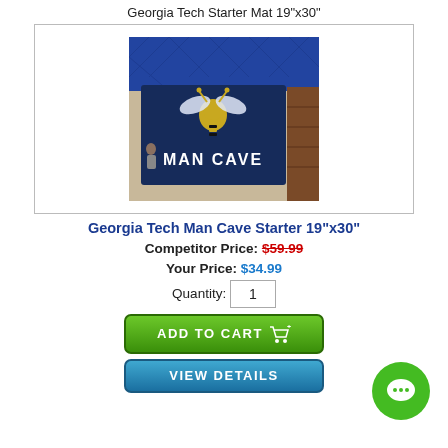Georgia Tech Starter Mat 19"x30"
[Figure (photo): Georgia Tech Man Cave Starter Mat 19x30 placed on a beige carpet floor with blue textured mat behind it. The mat is navy blue with the Georgia Tech Yellow Jackets mascot and text MAN CAVE in white letters.]
Georgia Tech Man Cave Starter 19"x30"
Competitor Price: $59.99
Your Price: $34.99
Quantity: 1
ADD TO CART
VIEW DETAILS